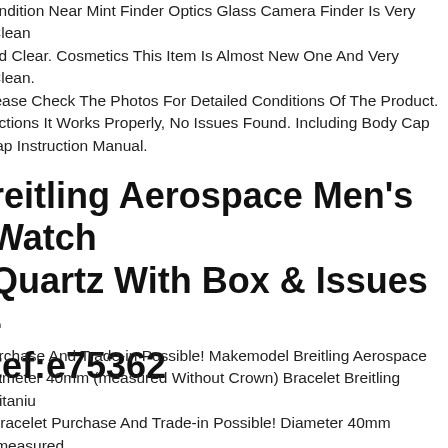ondition Near Mint Finder Optics Glass Camera Finder Is Very Clean and Clear. Cosmetics This Item Is Almost New One And Very Clean. Please Check The Photos For Detailed Conditions Of The Product. nctions It Works Properly, No Issues Found. Including Body Cap rap Instruction Manual.
Breitling Aerospace Men's Watch Quartz With Box & Issues - Ref:e75362
Purchase And Trade-in Possible! Makemodel Breitling Aerospace iameter 40mm (measured Without Crown) Bracelet Breitling Titaniu Bracelet Purchase And Trade-in Possible! Diameter 40mm (measured ithout Crown) Strap Breitling Titanium Bracelet A Personal Pick-up enerally Possible In Dsseldorf By Arrangement. Since The Items Are ored In A Safe Deposit Box, A Lead Time Of One Day Is Required. Th llowing Payment Methods Are Offered Cash On Collection, Bank ransfer, Paypal & Trusted Checkout. You Can Also View Our xclusively Positive Customer Testimonials On Chrono24. Insured